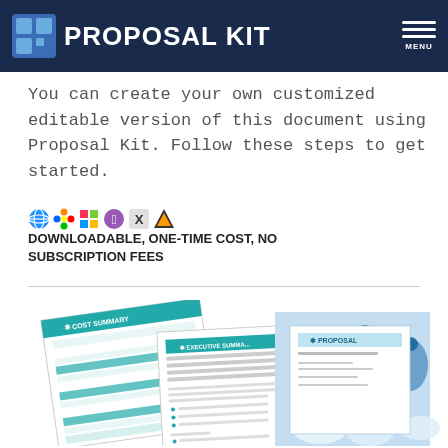Proposal Kit
You can create your own customized editable version of this document using Proposal Kit. Follow these steps to get started.
DOWNLOADABLE, ONE-TIME COST, NO SUBSCRIPTION FEES
[Figure (screenshot): Preview of Proposal Kit document pages showing Cost Summary, Executive Summary, and Proposal cover sheets with blue chemical bottle background image]